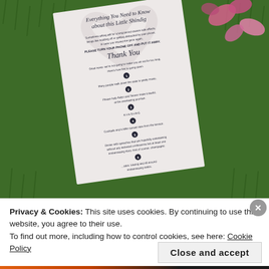[Figure (photo): A wedding program card titled 'Everything You Need to Know about this Little Shindig' lying on grass surrounded by pink flower petals. The card lists numbered steps for the ceremony and has a heart watermark. The scene is photographed from above.]
Privacy & Cookies: This site uses cookies. By continuing to use this website, you agree to their use.
To find out more, including how to control cookies, see here: Cookie Policy
Close and accept